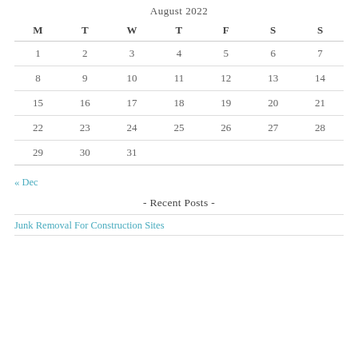August 2022
| M | T | W | T | F | S | S |
| --- | --- | --- | --- | --- | --- | --- |
| 1 | 2 | 3 | 4 | 5 | 6 | 7 |
| 8 | 9 | 10 | 11 | 12 | 13 | 14 |
| 15 | 16 | 17 | 18 | 19 | 20 | 21 |
| 22 | 23 | 24 | 25 | 26 | 27 | 28 |
| 29 | 30 | 31 |  |  |  |  |
« Dec
- Recent Posts -
Junk Removal For Construction Sites